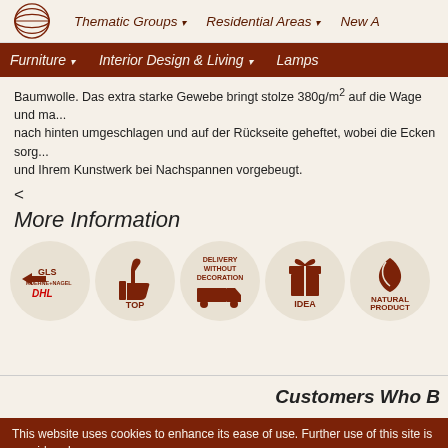Thematic Groups ▾   Residential Areas ▾   New A...
Furniture ▾   Interior Design & Living ▾   Lamps
Baumwolle. Das extra starke Gewebe bringt stolze 380g/m² auf die Wage und ma... nach hinten umgeschlagen und auf der Rückseite geheftet, wobei die Ecken sorg... und Ihrem Kunstwerk bei Nachspannen vorgebeugt.
<
More Information
[Figure (infographic): Five circular icons: (1) GLS / KUEHNE+NAGEL / DHL shipping logos, (2) Thumbs up with text TOP, (3) Delivery truck with text DELIVERY WITHOUT DECORATION, (4) Gift box icon with text IDEA, (5) Leaf/plant icon with text NATURAL PRODUCT]
Customers Who B...
This website uses cookies to enhance its ease of use. Further use of this site is considered consent. Privacy
Okay